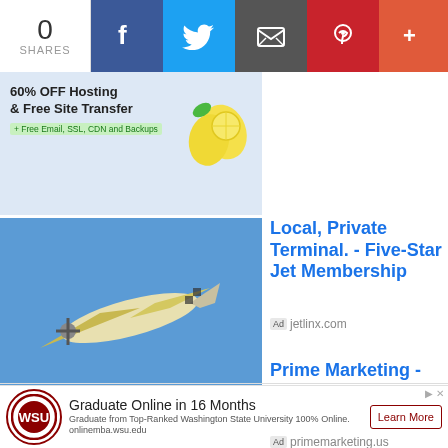0 SHARES | Facebook | Twitter | Email | Pinterest | More
[Figure (screenshot): Ad banner: 60% OFF Hosting & Free Site Transfer + Free Email, SSL, CDN and Backups with lemon illustration]
[Figure (photo): Photo of small plane flying against blue sky]
Local, Private Terminal. - Five-Star Jet Membership
Ad jetlinx.com
[Figure (photo): Photo of cork board with LEAD Generation sign and office supplies]
Prime Marketing - Local Moving Leads
Ad primemarketing.us
[Figure (screenshot): Washington State University logo (WSU circular seal in red and white)]
Graduate Online in 16 Months
Graduate from Top-Ranked Washington State University 100% Online. onlinemba.wsu.edu